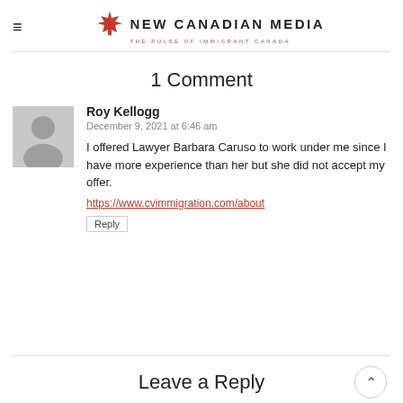NEW CANADIAN MEDIA — THE PULSE OF IMMIGRANT CANADA
1 Comment
Roy Kellogg
December 9, 2021 at 6:46 am
I offered Lawyer Barbara Caruso to work under me since I have more experience than her but she did not accept my offer.
https://www.cvimmigration.com/about
Reply
Leave a Reply